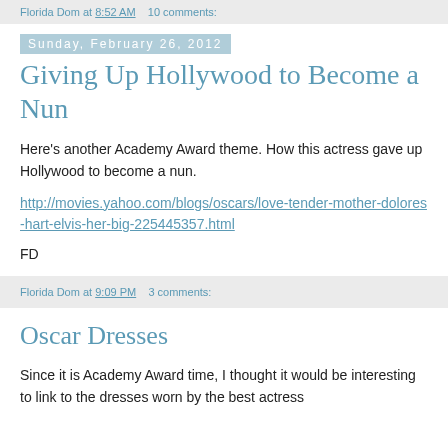Florida Dom at 8:52 AM   10 comments:
Sunday, February 26, 2012
Giving Up Hollywood to Become a Nun
Here's another Academy Award theme. How this actress gave up Hollywood to become a nun.
http://movies.yahoo.com/blogs/oscars/love-tender-mother-dolores-hart-elvis-her-big-225445357.html
FD
Florida Dom at 9:09 PM   3 comments:
Oscar Dresses
Since it is Academy Award time, I thought it would be interesting to link to the dresses worn by the best actress